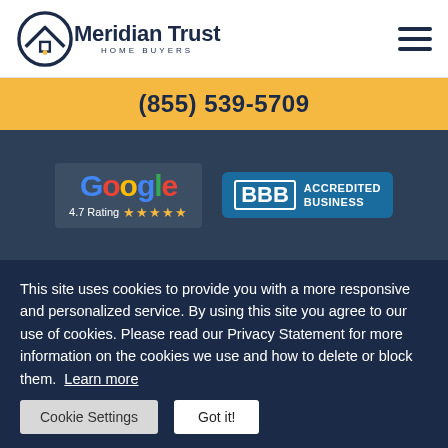[Figure (logo): Meridian Trust Home Buyers logo with house/mountain icon and company name]
(855) 539-5709
[Figure (infographic): Google 4.7 Rating with stars badge and BBB Accredited Business badge on dark blue hero background]
This site uses cookies to provide you with a more responsive and personalized service. By using this site you agree to our use of cookies. Please read our Privacy Statement for more information on the cookies we use and how to delete or block them. Learn more
Cookie Settings
Got it!